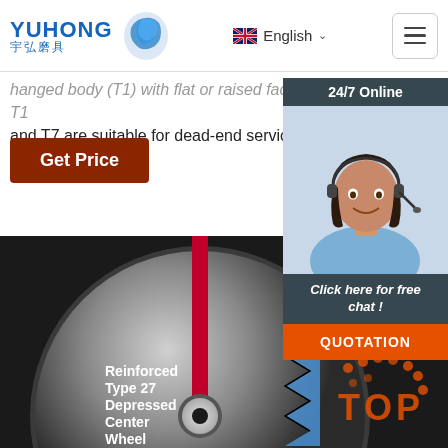YUHONG 宇弘磨具 | English
hanged body (T1) with flat or raised facer. Body types T1 and T7 are suitable for dead-end service.
Get Price
24/7 Online
[Figure (photo): Customer service agent woman with headset smiling]
Click here for free chat !
QUOTATION
[Figure (photo): Reinforced Type 27 Depressed Center Wheel grinding disc product photo]